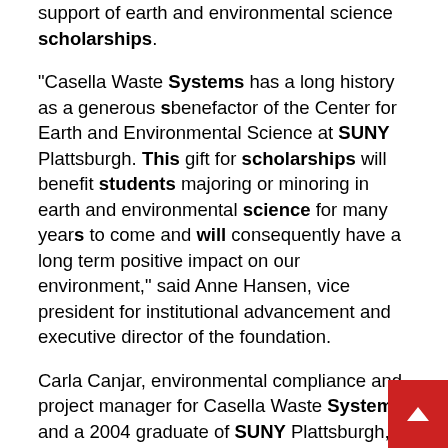support of earth and environmental science scholarships.
"Casella Waste Systems has a long history as a generous benefactor of the Center for Earth and Environmental Science at SUNY Plattsburgh. This gift for scholarships will benefit students majoring or minoring in earth and environmental science for many years to come and will consequently have a long term positive impact on our environment," said Anne Hansen, vice president for institutional advancement and executive director of the foundation.
Carla Canjar, environmental compliance and project manager for Casella Waste Systems and a 2004 graduate of SUNY Plattsburgh, was a benefactor of Casella's commitment to higher education when, as a junior, she was a recipient of a Casella scholarship...